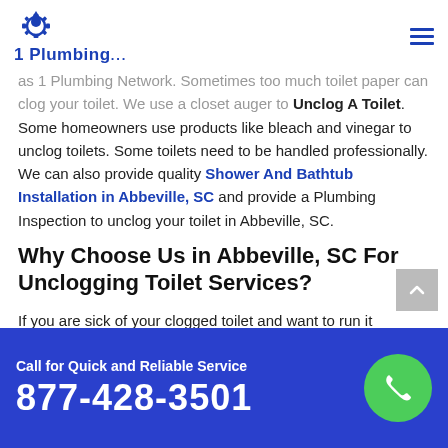[Figure (logo): 1 Plumbing logo with blue water drop and gear icon above text '1 Plumbing...']
as 1 Plumbing Network. Sometimes too much toilet paper can clog your toilet. We use a closet auger to Unclog A Toilet. Some homeowners use products like bleach and vinegar to unclog toilets. Some toilets need to be handled professionally. We can also provide quality Shower And Bathtub Installation in Abbeville, SC and provide a Plumbing Inspection to unclog your toilet in Abbeville, SC.
Why Choose Us in Abbeville, SC For Unclogging Toilet Services?
If you are sick of your clogged toilet and want to run it smoothly, you need a Professional Toilet Plumbing...
Call for Quick and Reliable Service 877-428-3501